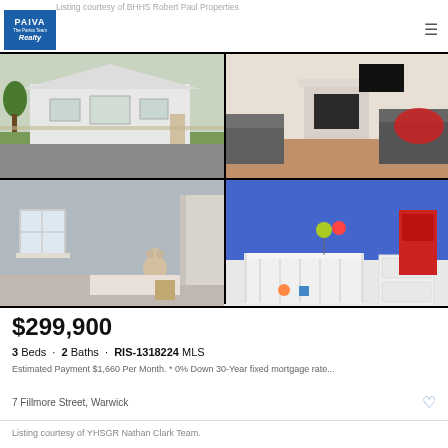Listing courtesy of BHHS Robert Paul Properties
[Figure (photo): Real estate listing photo grid: top-left shows exterior of white house with driveway; top-right shows living room with sofas and fireplace; bottom-left shows bedroom with teddy bear; bottom-right shows child's room with blue walls and white crib furniture]
$299,900
3 Beds · 2 Baths · RIS-1318224 MLS
Estimated Payment $1,660 Per Month. * 0% Down 30-Year fixed mortgage rate...
7 Fillmore Street, Warwick
Listing courtesy of YHSGR Nathan Clark Team.